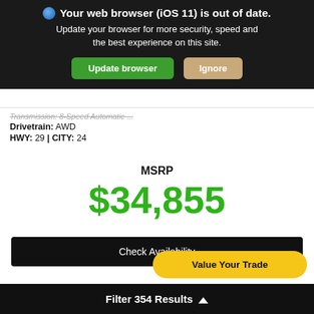Your web browser (iOS 11) is out of date. Update your browser for more security, speed and the best experience on this site.
Update browser
Ignore
Transmission: 8-Speed Automatic ...
Drivetrain: AWD
HWY: 29 | CITY: 24
MSRP
$34,855
Check Availability
Value Your Trade
Preston Hyundai
330.708.7243
Filter 354 Results